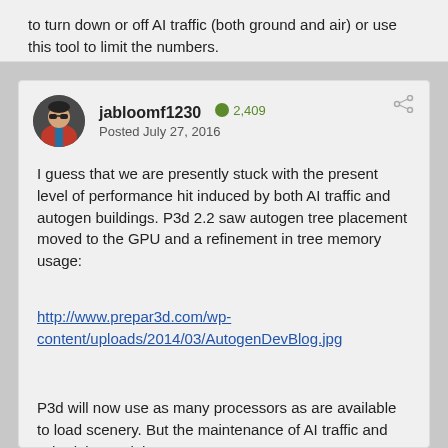to turn down or off AI traffic (both ground and air) or use this tool to limit the numbers.
jabloomf1230  2,409
Posted July 27, 2016
I guess that we are presently stuck with the present level of performance hit induced by both AI traffic and autogen buildings. P3d 2.2 saw autogen tree placement moved to the GPU and a refinement in tree memory usage:
http://www.prepar3d.com/wp-content/uploads/2014/03/AutogenDevBlog.jpg
P3d will now use as many processors as are available to load scenery. But the maintenance of AI traffic and schedules and the